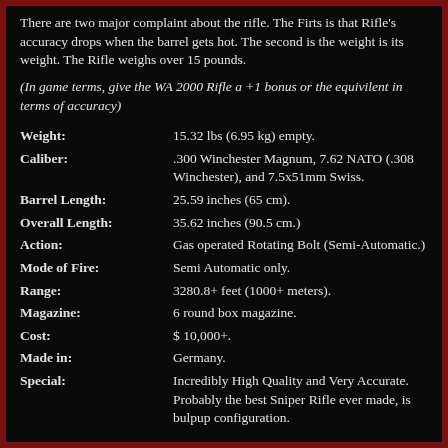There are two major complaint about the rifle. The Firts is that Rifle's accuracy drops when the barrel gets hot. The second is the weight is its weight. The Rifle weighs over 15 pounds.
(In game terms, give the WA 2000 Rifle a +1 bonus or the equivilent in terms of accuracy)
| Attribute | Value |
| --- | --- |
| Weight: | 15.32 lbs (6.95 kg) empty. |
| Caliber: | .300 Winchester Magnum, 7.62 NATO (.308 Winchester), and 7.5x51mm Swiss. |
| Barrel Length: | 25.59 inches (65 cm). |
| Overall Length: | 35.62 inches (90.5 cm.) |
| Action: | Gas operated Rotating Bolt (Semi-Automatic.) |
| Mode of Fire: | Semi Automatic only. |
| Range: | 3280.8+ feet (1000+ meters). |
| Magazine: | 6 round box magazine. |
| Cost: | $ 10,000+. |
| Made in: | Germany. |
| Special: | Incredibly High Quality and Very Accurate. Probably the best Sniper Rifle ever made, is bulpup configuration. |